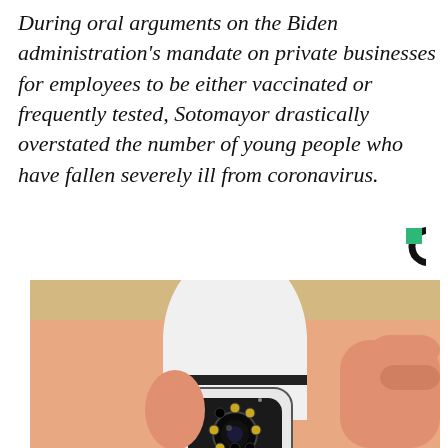During oral arguments on the Biden administration's mandate on private businesses for employees to be either vaccinated or frequently tested, Sotomayor drastically overstated the number of young people who have fallen severely ill from coronavirus.
[Figure (logo): Christian Science Monitor logo — letter C with a green square accent]
[Figure (photo): A hand holding a white egg-shaped security camera device with a circular lens and LED lights visible on the front, photographed indoors on a wooden surface]